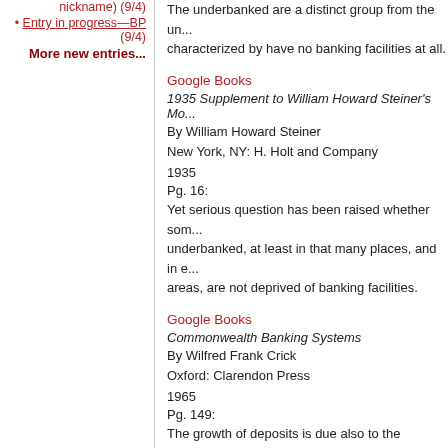nickname) (9/4)
Entry in progress—BP (9/4)
More new entries...
The underbanked are a distinct group from the un... characterized by have no banking facilities at all.
Google Books
1935 Supplement to William Howard Steiner's Mo...
By William Howard Steiner
New York, NY: H. Holt and Company
1935
Pg. 16:
Yet serious question has been raised whether som... underbanked, at least in that many places, and in ... areas, are not deprived of banking facilities.
Google Books
Commonwealth Banking Systems
By Wilfred Frank Crick
Oxford: Clarendon Press
1965
Pg. 149:
The growth of deposits is due also to the extension... form of new bank offices and increased faculties, t... even unbanked parts of the country.
Google News Archive
2 May 1970, Daytona Beach (FL) Morning Journal...